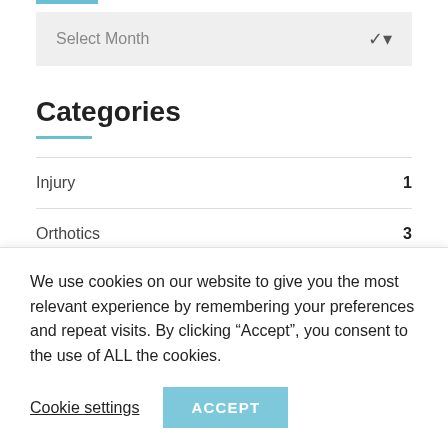Select Month
Categories
Injury 1
Orthotics 3
Paediatrics 1
We use cookies on our website to give you the most relevant experience by remembering your preferences and repeat visits. By clicking “Accept”, you consent to the use of ALL the cookies.
Cookie settings ACCEPT